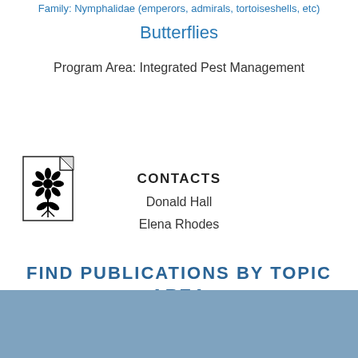Family: Nymphalidae (emperors, admirals, tortoiseshells, etc)
Butterflies
Program Area: Integrated Pest Management
[Figure (illustration): Document icon with a flower/plant illustration]
CONTACTS
Donald Hall
Elena Rhodes
FIND PUBLICATIONS BY TOPIC AREA
[Figure (other): Blue/steel-blue band at bottom of page]